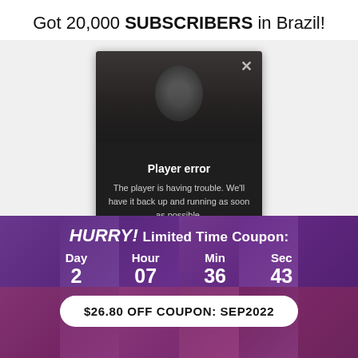Got 20,000 SUBSCRIBERS in Brazil!
[Figure (screenshot): Video player showing a man's face with a 'Player error' overlay dialog. The overlay reads: 'Player error — The player is having trouble. We'll have it back up and running as soon as possible.' There is an X close button and a green help button.]
HURRY! Limited Time Coupon:
Day 2 | Hour 07 | Min 36 | Sec 43
$26.80 OFF COUPON: SEP2022